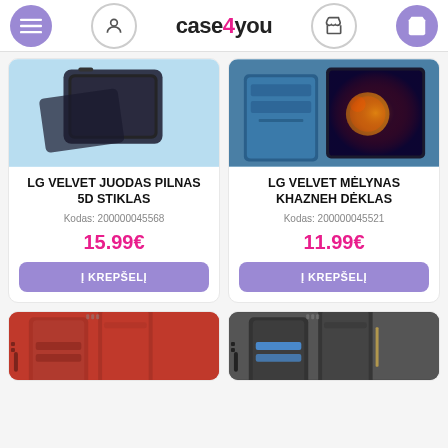case4you — navigation header with menu, user, phone, cart icons
[Figure (photo): Product photo of LG Velvet black 5D glass screen protector on blue background]
LG VELVET JUODAS PILNAS 5D STIKLAS
Kodas: 200000045568
15.99€
Į KREPŠELĮ
[Figure (photo): Product photo of LG Velvet blue Khazneh wallet case on teal and dark background]
LG VELVET MĖLYNAS KHAZNEH DĖKLAS
Kodas: 200000045521
11.99€
Į KREPŠELĮ
[Figure (photo): Partial product photo of red wallet phone case]
[Figure (photo): Partial product photo of dark grey wallet phone case]